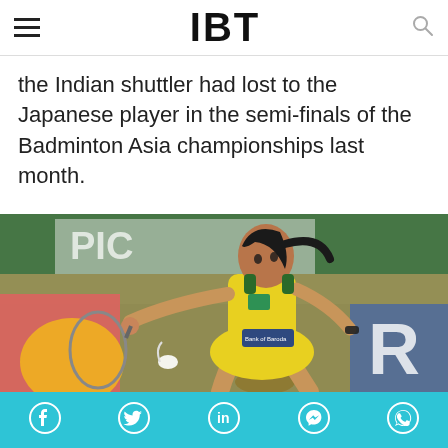IBT
the Indian shuttler had lost to the Japanese player in the semi-finals of the Badminton Asia championships last month.
[Figure (photo): PV Sindhu, Indian badminton player in yellow outfit, reaching forward with racket to hit a shuttlecock during a match.]
Social share bar with Facebook, Twitter, LinkedIn, Messenger, WhatsApp icons